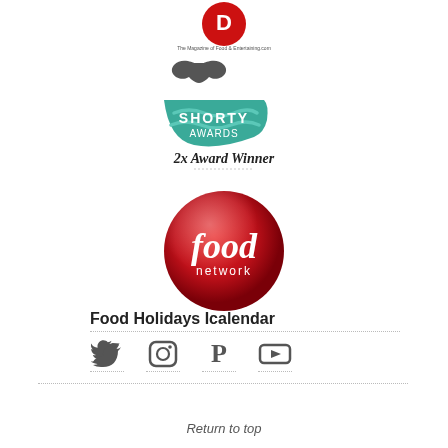[Figure (logo): Red circular award badge logo at top center]
[Figure (logo): Shorty Awards logo with whale tail and teal bowl shape, with '2x Award Winner' text below]
[Figure (logo): Food Network red circular logo with 'food network' text]
Food Holidays Icalendar
[Figure (infographic): Social media icons: Twitter bird, Instagram camera, Pinterest P, YouTube play button]
Return to top